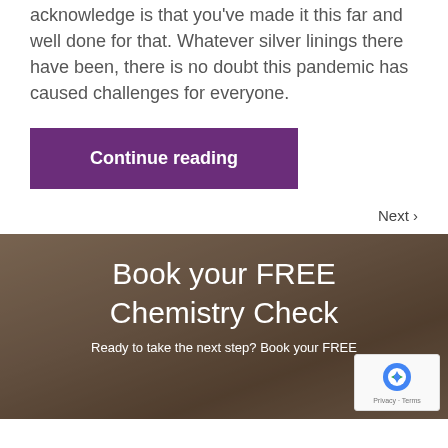acknowledge is that you've made it this far and well done for that. Whatever silver linings there have been, there is no doubt this pandemic has caused challenges for everyone.
Continue reading
Next ›
Book your FREE Chemistry Check
Ready to take the next step? Book your FREE